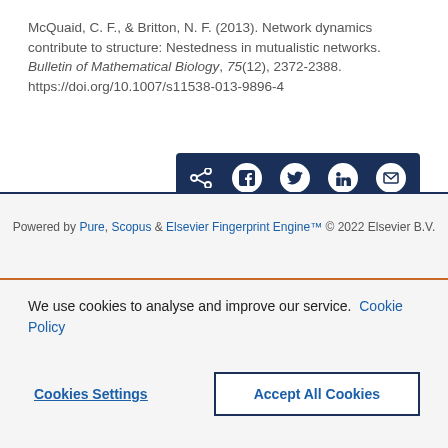McQuaid, C. F., & Britton, N. F. (2013). Network dynamics contribute to structure: Nestedness in mutualistic networks. Bulletin of Mathematical Biology, 75(12), 2372-2388. https://doi.org/10.1007/s11538-013-9896-4
[Figure (other): Social share bar with icons for share, Facebook, Twitter, LinkedIn, and email on a dark navy background]
Powered by Pure, Scopus & Elsevier Fingerprint Engine™ © 2022 Elsevier B.V.
We use cookies to analyse and improve our service. Cookie Policy
Cookies Settings
Accept All Cookies